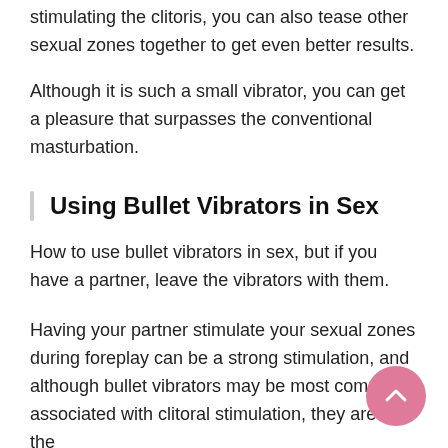stimulating the clitoris, you can also tease other sexual zones together to get even better results.
Although it is such a small vibrator, you can get a pleasure that surpasses the conventional masturbation.
Using Bullet Vibrators in Sex
How to use bullet vibrators in sex, but if you have a partner, leave the vibrators with them.
Having your partner stimulate your sexual zones during foreplay can be a strong stimulation, and although bullet vibrators may be most commonly associated with clitoral stimulation, they are not the